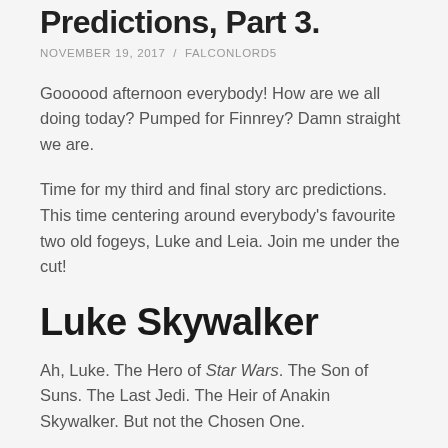Predictions, Part 3.
NOVEMBER 19, 2017 / FALCONLORD5
Goooood afternoon everybody! How are we all doing today? Pumped for Finnrey? Damn straight we are.
Time for my third and final story arc predictions. This time centering around everybody's favourite two old fogeys, Luke and Leia. Join me under the cut!
Luke Skywalker
Ah, Luke. The Hero of Star Wars. The Son of Suns. The Last Jedi. The Heir of Anakin Skywalker. But not the Chosen One.